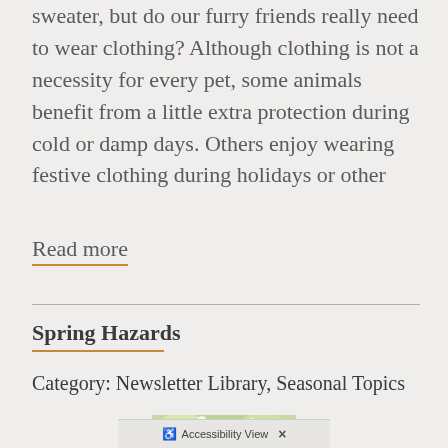sweater, but do our furry friends really need to wear clothing? Although clothing is not a necessity for every pet, some animals benefit from a little extra protection during cold or damp days. Others enjoy wearing festive clothing during holidays or other
Read more
Spring Hazards
Category: Newsletter Library, Seasonal Topics
[Figure (photo): A dog and cat together outdoors among white blossoms]
Accessibility View  ×